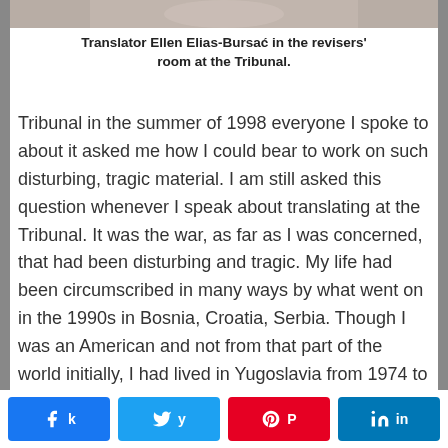[Figure (photo): Partial photo of translator Ellen Elias-Bursać in the revisers' room at the Tribunal — cropped at top, showing hands/body]
Translator Ellen Elias-Bursać in the revisers' room at the Tribunal.
Tribunal in the summer of 1998 everyone I spoke to about it asked me how I could bear to work on such disturbing, tragic material. I am still asked this question whenever I speak about translating at the Tribunal. It was the war, as far as I was concerned, that had been disturbing and tragic. My life had been circumscribed in many ways by what went on in the 1990s in Bosnia, Croatia, Serbia. Though I was an American and not from that part of the world initially, I had lived in Yugoslavia from 1974 to 1990 working as a free-lance translator. I may have been back in the States, an ocean away, by the